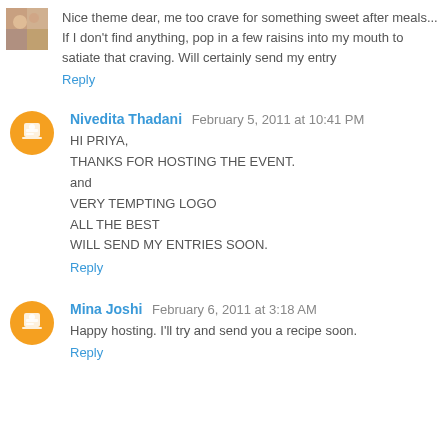Nice theme dear, me too crave for something sweet after meals... If I don't find anything, pop in a few raisins into my mouth to satiate that craving. Will certainly send my entry
Reply
Nivedita Thadani  February 5, 2011 at 10:41 PM
HI PRIYA,
THANKS FOR HOSTING THE EVENT.
and
VERY TEMPTING LOGO
ALL THE BEST
WILL SEND MY ENTRIES SOON.
Reply
Mina Joshi  February 6, 2011 at 3:18 AM
Happy hosting. I'll try and send you a recipe soon.
Reply